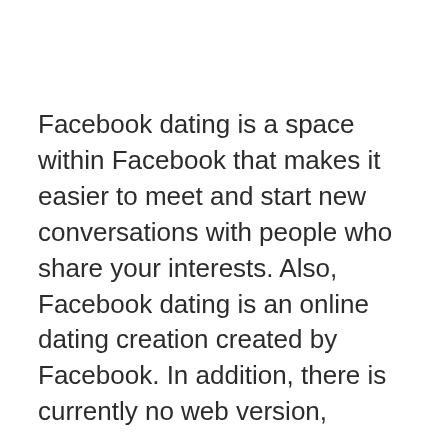Facebook dating is a space within Facebook that makes it easier to meet and start new conversations with people who share your interests. Also, Facebook dating is an online dating creation created by Facebook. In addition, there is currently no web version,